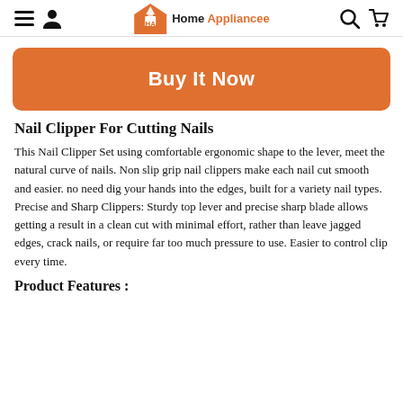Home Appliancee
[Figure (other): Buy It Now button - orange rounded rectangle with white bold text]
Nail Clipper For Cutting Nails
This Nail Clipper Set using comfortable ergonomic shape to the lever, meet the natural curve of nails. Non slip grip nail clippers make each nail cut smooth and easier. no need dig your hands into the edges, built for a variety nail types. Precise and Sharp Clippers: Sturdy top lever and precise sharp blade allows getting a result in a clean cut with minimal effort, rather than leave jagged edges, crack nails, or require far too much pressure to use. Easier to control clip every time.
Product Features :